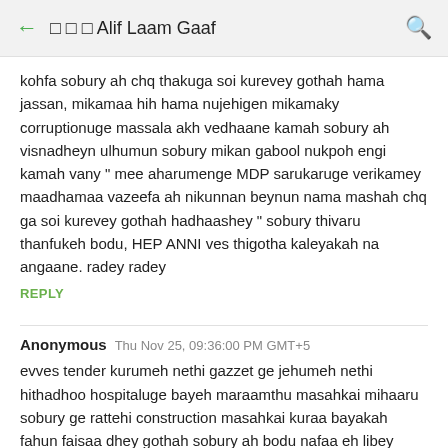← □□□ Alif Laam Gaaf 🔍
kohfa sobury ah chq thakuga soi kurevey gothah hama jassan, mikamaa hih hama nujehigen mikamaky corruptionuge massala akh vedhaane kamah sobury ah visnadheyn ulhumun sobury mikan gabool nukpoh engi kamah vany " mee aharumenge MDP sarukaruge verikamey maadhamaa vazeefa ah nikunnan beynun nama mashah chq ga soi kurevey gothah hadhaashey " sobury thivaru thanfukeh bodu, HEP ANNI ves thigotha kaleyakah na angaane. radey radey
REPLY
Anonymous  Thu Nov 25, 09:36:00 PM GMT+5
evves tender kurumeh nethi gazzet ge jehumeh nethi hithadhoo hospitaluge bayeh maraamthu masahkai mihaaru sobury ge rattehi construction masahkai kuraa bayakah fahun faisaa dhey gothah sobury ah bodu nafaa eh libey gothah bavaalu kohgen